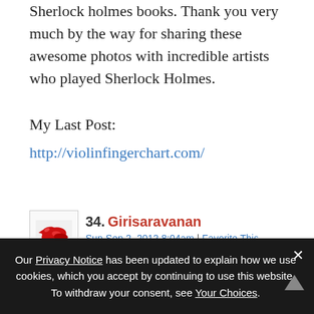Sherlock holmes books. Thank you very much by the way for sharing these awesome photos with incredible artists who played Sherlock Holmes.
My Last Post:
http://violinfingerchart.com/
34. Girisaravanan
Sun Sep 2, 2012 8:04am | Favorite This
No one can match with the brett performance for potraying sherlock holmes character. He is intellect, admirable and mostly his face value does a great addition to the character.
Our Privacy Notice has been updated to explain how we use cookies, which you accept by continuing to use this website. To withdraw your consent, see Your Choices.